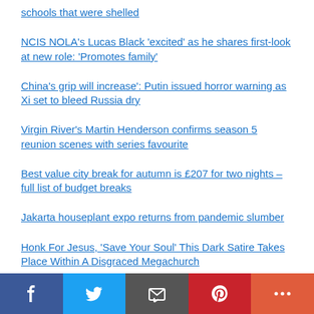schools that were shelled
NCIS NOLA's Lucas Black 'excited' as he shares first-look at new role: 'Promotes family'
China's grip will increase': Putin issued horror warning as Xi set to bleed Russia dry
Virgin River's Martin Henderson confirms season 5 reunion scenes with series favourite
Best value city break for autumn is £207 for two nights – full list of budget breaks
Jakarta houseplant expo returns from pandemic slumber
Honk For Jesus, 'Save Your Soul' This Dark Satire Takes Place Within A Disgraced Megachurch
Monkeypox Strain Linked To West African Travel